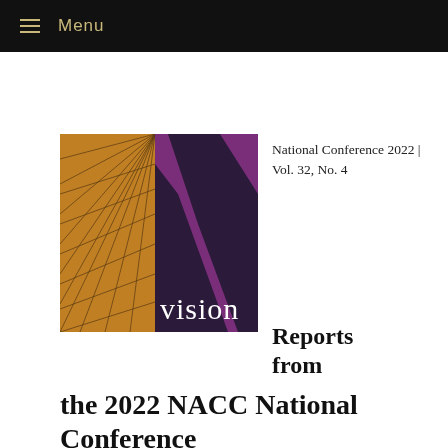≡ Menu
[Figure (illustration): Vision magazine cover with golden/amber left panel featuring radiating lines in a grid perspective pattern, and dark purple/navy right panel with a large V shape and the word 'vision' in white serif text at the bottom]
National Conference 2022 | Vol. 32, No. 4
Reports from the 2022 NACC National Conference